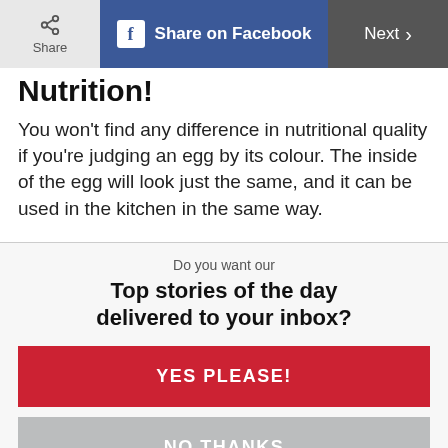Share | Share on Facebook | Next
Nutrition!
You won't find any difference in nutritional quality if you're judging an egg by its colour. The inside of the egg will look just the same, and it can be used in the kitchen in the same way.
Do you want our
Top stories of the day delivered to your inbox?
YES PLEASE!
NO THANKS